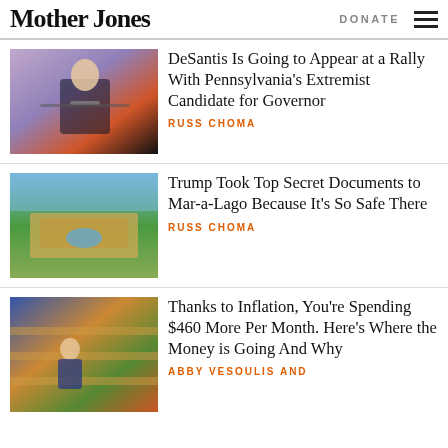Mother Jones | DONATE
DeSantis Is Going to Appear at a Rally With Pennsylvania's Extremist Candidate for Governor
RUSS CHOMA
Trump Took Top Secret Documents to Mar-a-Lago Because It's So Safe There
RUSS CHOMA
Thanks to Inflation, You're Spending $460 More Per Month. Here's Where the Money is Going And Why
ABBY VESOULIS AND